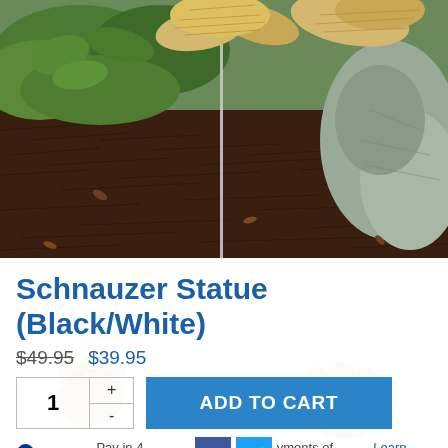[Figure (photo): Outdoor garden scene showing dark wood chip mulch ground cover with green leafy plants and a rock or stone in the background, and what appears to be a garden ornament stake in the center.]
Schnauzer Statue (Black/White)
$49.95  $39.95
1  ADD TO CART
PayPal Pay in 4 interest-free payments of $10.69. Learn more